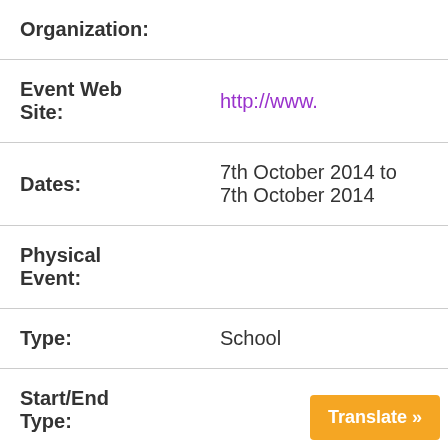| Field | Value |
| --- | --- |
| Organization: |  |
| Event Web Site: | http://www. |
| Dates: | 7th October 2014 to 7th October 2014 |
| Physical Event: |  |
| Type: | School |
| Start/End Type: |  |
| Country: | United States |
Translate »